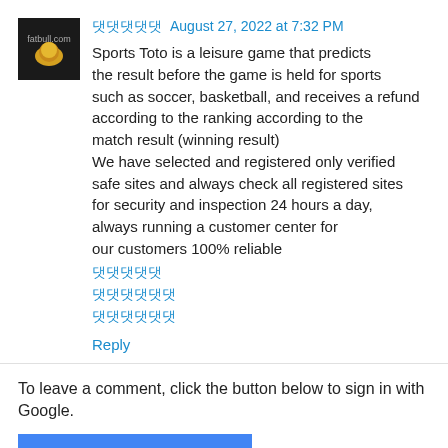[Figure (photo): Small square avatar image with dark background showing a logo or icon for fatbull.com]
댓댓댓댓댓  August 27, 2022 at 7:32 PM
Sports Toto is a leisure game that predicts the result before the game is held for sports such as soccer, basketball, and receives a refund according to the ranking according to the match result (winning result)
We have selected and registered only verified safe sites and always check all registered sites for security and inspection 24 hours a day, always running a customer center for our customers 100% reliable
댓댓댓댓댓
댓댓댓댓댓댓
댓댓댓댓댓댓
Reply
To leave a comment, click the button below to sign in with Google.
SIGN IN WITH GOOGLE